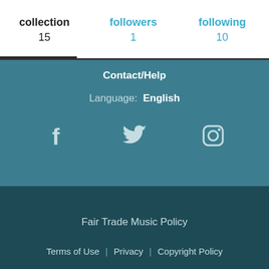collection 15
followers 1
following 10
Contact/Help
Language: English
[Figure (infographic): Social media icons: Facebook, Twitter, Instagram]
Fair Trade Music Policy
Terms of Use | Privacy | Copyright Policy
bandcamp   Switch to desktop version